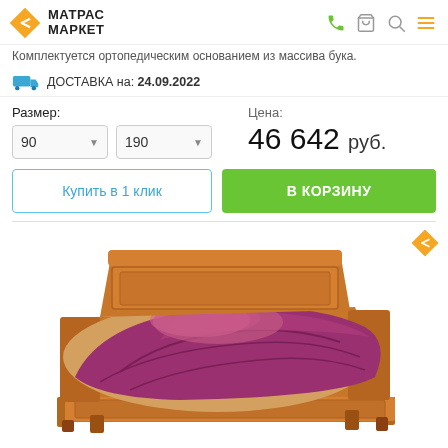МАТРАС МАРКЕТ
Комплектуется ортопедическим основанием из массива бука.
ДОСТАВКА на: 24.09.2022
Размер: 90 × 190
Цена: 46 642 руб.
Купить в 1 клик
В КОРЗИНУ
[Figure (photo): Wooden bed with dark cherry/walnut finish and purple/magenta bedding, shown at an angle. The bed has a classic headboard and footboard with panel details.]